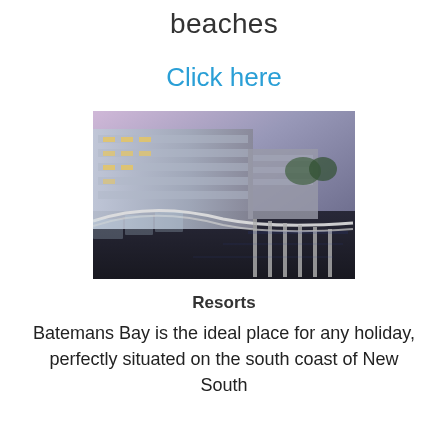beaches
Click here
[Figure (photo): Aerial/elevated view of a marina and modern resort hotel buildings at dusk/twilight, with boat docks extending into dark water, warm interior lights, and a purple-pink sky]
Resorts
Batemans Bay is the ideal place for any holiday, perfectly situated on the south coast of New South Wales, boasting beautiful...